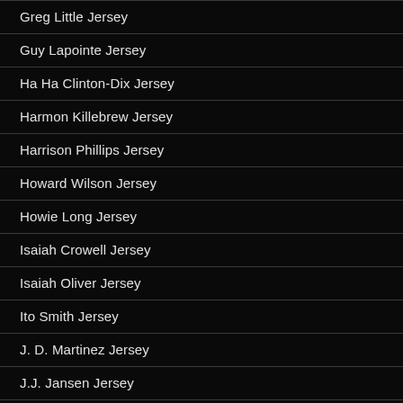Greg Little Jersey
Guy Lapointe Jersey
Ha Ha Clinton-Dix Jersey
Harmon Killebrew Jersey
Harrison Phillips Jersey
Howard Wilson Jersey
Howie Long Jersey
Isaiah Crowell Jersey
Isaiah Oliver Jersey
Ito Smith Jersey
J. D. Martinez Jersey
J.J. Jansen Jersey